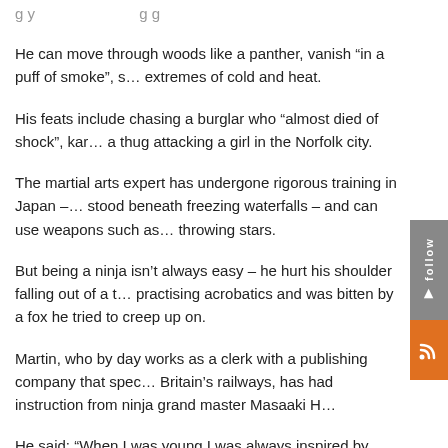g y  g g
He can move through woods like a panther, vanish “in a puff of smoke”, s… extremes of cold and heat.
His feats include chasing a burglar who “almost died of shock”, kar… a thug attacking a girl in the Norfolk city.
The martial arts expert has undergone rigorous training in Japan –… stood beneath freezing waterfalls – and can use weapons such as… throwing stars.
But being a ninja isn’t always easy – he hurt his shoulder falling out of a t… practising acrobatics and was bitten by a fox he tried to creep up on.
Martin, who by day works as a clerk with a publishing company that spec… Britain’s railways, has had instruction from ninja grand master Masaaki H…
He said: “When I was young I was always inspired by superhero stories a… special with my life.